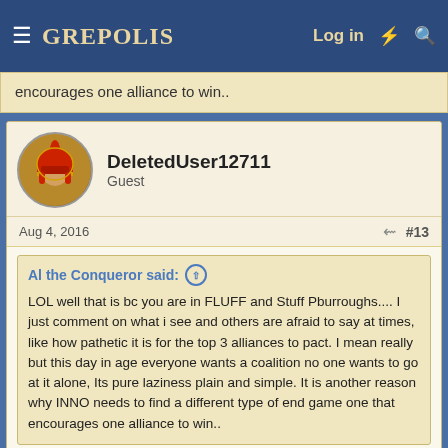≡ GREPOLIS | Log in ⚡ 🔍
encourages one alliance to win..
DeletedUser12711
Guest
Aug 4, 2016 | #13
Al the Conqueror said: ⊕
LOL well that is bc you are in FLUFF and Stuff Pburroughs.... I just comment on what i see and others are afraid to say at times, like how pathetic it is for the top 3 alliances to pact. I mean really but this day in age everyone wants a coalition no one wants to go at it alone, Its pure laziness plain and simple. It is another reason why INNO needs to find a different type of end game one that encourages one alliance to win..
I totally agree Al, I wish alliances would fight one another one on one until they move on to the next target and then sooner or later you have two big dogs trying to duke it out